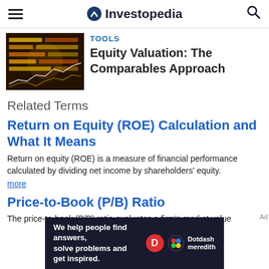Investopedia
[Figure (photo): Stock market data screen with glowing yellow/orange financial charts and ticker data]
TOOLS
Equity Valuation: The Comparables Approach
Related Terms
Return on Equity (ROE) Calculation and What It Means
Return on equity (ROE) is a measure of financial performance calculated by dividing net income by shareholders' equity.
more
Price-to-Book (P/B) Ratio
The price-to-book (P/B) ratio evaluates a firm's market value
[Figure (other): Dotdash Meredith advertisement banner: 'We help people find answers, solve problems and get inspired.']